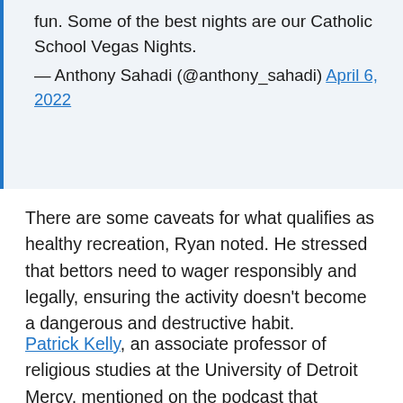fun. Some of the best nights are our Catholic School Vegas Nights. — Anthony Sahadi (@anthony_sahadi) April 6, 2022
There are some caveats for what qualifies as healthy recreation, Ryan noted. He stressed that bettors need to wager responsibly and legally, ensuring the activity doesn't become a dangerous and destructive habit.
Patrick Kelly, an associate professor of religious studies at the University of Detroit Mercy, mentioned on the podcast that Catholics shouldn't view sports as a path to fame or wealth. Instead, the bettors or athletes should focus on the community-building aspects of athletics. He also cautioned against rooting for injuries or anything